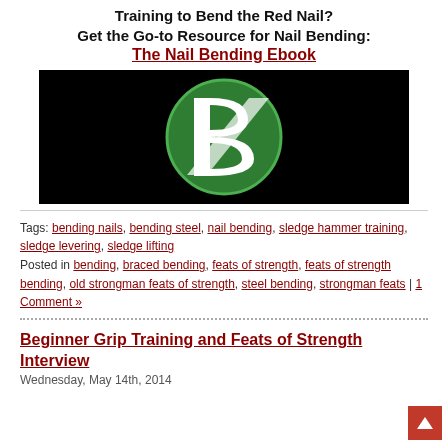Training to Bend the Red Nail?
Get the Go-to Resource for Nail Bending:
The Nail Bending Ebook
[Figure (logo): Black background with a large green and white stylized 'B' logo (Bold with a wing/slash element)]
Tags: bending nails, bending steel, nail bending, sledge hammer training, sledge levering, sledge lifting
Posted in bending, braced bending, feats of strength, feats of strength bending, old strongman feats of strength, steel bending, strongman feats | 1 Comment »
Beginner Grip Training and Feats of Strength Interview
Wednesday, May 14th, 2014